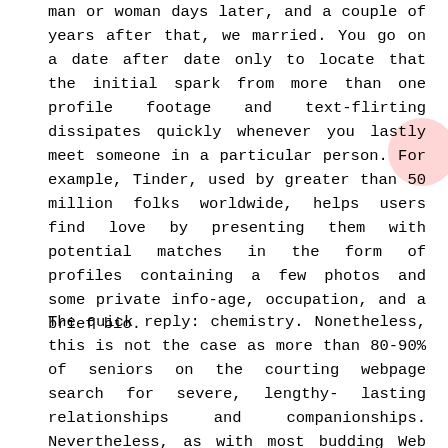man or woman days later, and a couple of years after that, we married. You go on a date after date only to locate that the initial spark from more than one profile footage and text-flirting dissipates quickly whenever you lastly meet someone in a particular person. For example, Tinder, used by greater than 50 million folks worldwide, helps users find love by presenting them with potential matches in the form of profiles containing a few photos and some private info-age, occupation, and a brief bio.
The quick reply: chemistry. Nonetheless, this is not the case as more than 80-90% of seniors on the courting webpage search for severe, lengthy-lasting relationships and companionships. Nevertheless, as with most budding Web businesses, the dot com crash in 2001/2002 introduced much of the frenzy to a finish and altered the web world. So why is it a lot more